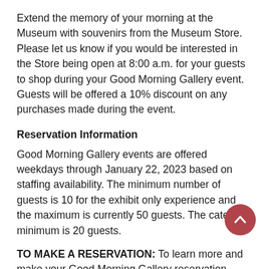Extend the memory of your morning at the Museum with souvenirs from the Museum Store. Please let us know if you would be interested in the Store being open at 8:00 a.m. for your guests to shop during your Good Morning Gallery event. Guests will be offered a 10% discount on any purchases made during the event.
Reservation Information
Good Morning Gallery events are offered weekdays through January 22, 2023 based on staffing availability. The minimum number of guests is 10 for the exhibit only experience and the maximum is currently 50 guests. The catering minimum is 20 guests.
TO MAKE A RESERVATION: To learn more and make your Good Morning Gallery reservation, contact the